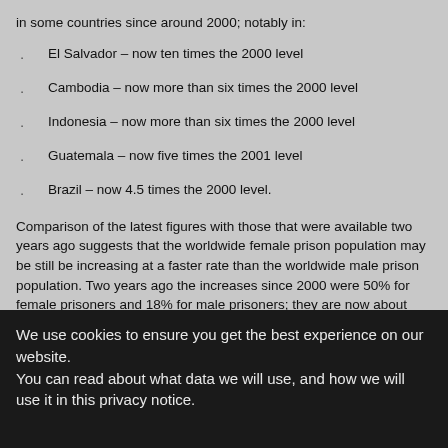in some countries since around 2000; notably in:
El Salvador – now ten times the 2000 level
Cambodia – now more than six times the 2000 level
Indonesia – now more than six times the 2000 level
Guatemala – now five times the 2001 level
Brazil – now 4.5 times the 2000 level.
Comparison of the latest figures with those that were available two years ago suggests that the worldwide female prison population may be still be increasing at a faster rate than the worldwide male prison population. Two years ago the increases since 2000 were 50% for female prisoners and 18% for male prisoners; they are now about
We use cookies to ensure you get the best experience on our website.
You can read about what data we will use, and how we will use it in this privacy notice.